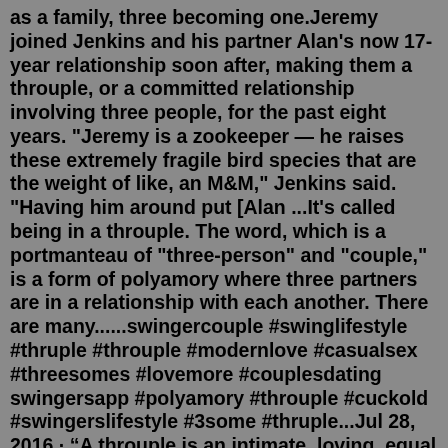as a family, three becoming one.Jeremy joined Jenkins and his partner Alan's now 17-year relationship soon after, making them a throuple, or a committed relationship involving three people, for the past eight years. "Jeremy is a zookeeper — he raises these extremely fragile bird species that are the weight of like, an M&M," Jenkins said. "Having him around put [Alan ...It's called being in a throuple. The word, which is a portmanteau of "three-person" and "couple," is a form of polyamory where three partners are in a relationship with each another. There are many......swingercouple #swinglifestyle #thruple #throuple #modernlove #casualsex #threesomes #lovemore #couplesdating swingersapp #polyamory #throuple #cuckold #swingerslifestyle #3some #thruple...Jul 28, 2016 · “A throuple is an intimate, loving, equal relationship between a trio of people,” explains journalist and sex educator Alix Fox. “It’s a play on the word ‘couple’, and indicates a ... A throuple is an intimate relationship between three